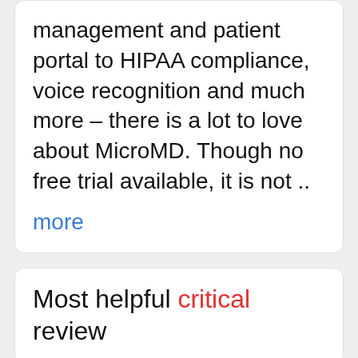management and patient portal to HIPAA compliance, voice recognition and much more – there is a lot to love about MicroMD. Though no free trial available, it is not .. more
Most helpful critical review